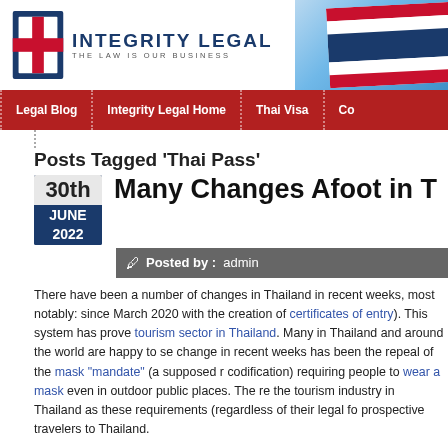[Figure (logo): Integrity Legal logo with Thai flag background header banner]
Legal Blog | Integrity Legal Home | Thai Visa | Co...
Posts Tagged ‘Thai Pass’
Many Changes Afoot in Thailand
Posted by : admin
There have been a number of changes in Thailand in recent weeks, most notably: since March 2020 with the creation of certificates of entry). This system has proven tourism sector in Thailand. Many in Thailand and around the world are happy to see change in recent weeks has been the repeal of the mask “mandate” (a supposed codification) requiring people to wear a mask even in outdoor public places. The re the tourism industry in Thailand as these requirements (regardless of their legal fo prospective travelers to Thailand.
On the Thai Immigration front, there have been several announcements in recent w Residence, or LTR, visa in Thailand (a “residence” visa in name only as these pro